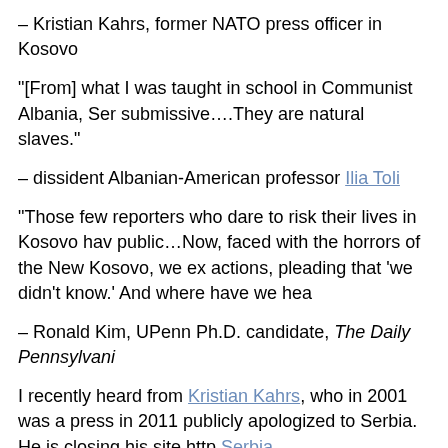– Kristian Kahrs, former NATO press officer in Kosovo
"[From] what I was taught in school in Communist Albania, Ser... submissive….They are natural slaves."
– dissident Albanian-American professor Ilia Toli
"Those few reporters who dare to risk their lives in Kosovo hav... public…Now, faced with the horrors of the New Kosovo, we ex... actions, pleading that 'we didn't know.' And where have we hea...
– Ronald Kim, UPenn Ph.D. candidate, The Daily Pennsylvani...
I recently heard from Kristian Kahrs, who in 2001 was a press... in 2011 publicly apologized to Serbia. He is closing his site http... Serbia.
So I went to "Sorry Serbia," and learned that it was the 1999 g... TO WAR FOR THE FIRST TIME SINCE 1788, and also saw th... of Kahrs, who is fast turning heroic in my eyes. He describes h... Serbs to Kosovo on June 28th to attend the annual St. Vitus D...